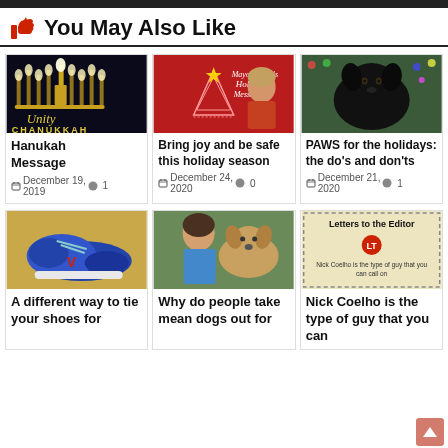You May Also Like
[Figure (photo): Hanukah menorah photo with Unity Chanukkah text overlay]
Hanukah Message
December 19, 2019  1
[Figure (photo): Mayor Smith's Holiday Message - red background with woman and Christmas tree]
Bring joy and be safe this holiday season
December 24, 2020  0
[Figure (photo): Black dog with Christmas lights - PAWS holiday article]
PAWS for the holidays: the do's and don'ts
December 21, 2020  1
[Figure (photo): Blue sneaker/shoe on gold background]
A different way to tie your shoes for
[Figure (photo): Woman with golden dog]
Why do people take mean dogs out for
[Figure (other): Letters to the Editor card with LT logo and text: Nick Coelho is the type of guy that you can call on]
Nick Coelho is the type of guy that you can